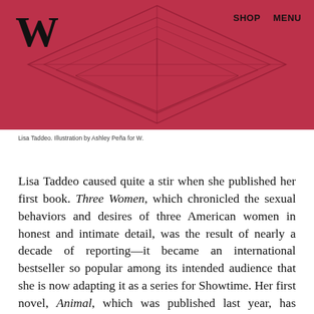[Figure (illustration): Dark crimson/pink illustrated header with geometric diamond/heart shapes outlined in dark lines, forming a decorative pattern. W magazine logo in top left, SHOP and MENU navigation in top right.]
Lisa Taddeo. Illustration by Ashley Peña for W.
Lisa Taddeo caused quite a stir when she published her first book. Three Women, which chronicled the sexual behaviors and desires of three American women in honest and intimate detail, was the result of nearly a decade of reporting—it became an international bestseller so popular among its intended audience that she is now adapting it as a series for Showtime. Her first novel, Animal, which was published last year, has already been plucked by MGM and Plan B for the big screen. And, amid adapting her two biggest writing